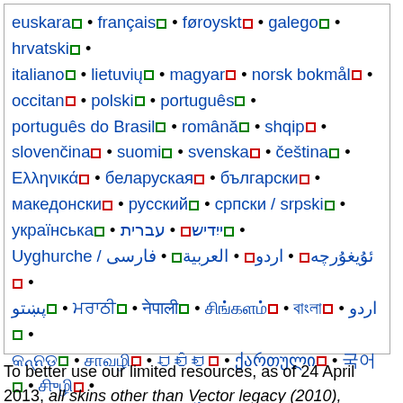euskara • français • føroyskt • galego • hrvatski • italiano • lietuvių • magyar • norsk bokmål • occitan • polski • português • português do Brasil • română • shqip • slovenčina • suomi • svenska • čeština • Ελληνικά • беларуская • български • македонски • русский • српски / srpski • українська • ייִדיש • עברית • Uyghurche / ئۇيغۇرچە • اردو • العربية • فارسی • پښتو • [various scripts]
To better use our limited resources, as of 24 April 2013, all skins other than Vector legacy (2010), MonoBook, Modern and Cologne Blue are permanently removed from